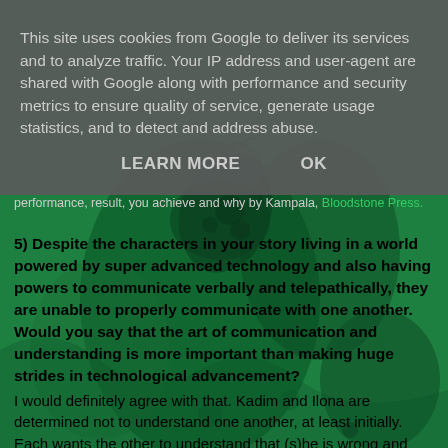This site uses cookies from Google to deliver its services and to analyze traffic. Your IP address and user-agent are shared with Google along with performance and security metrics to ensure quality of service, generate usage statistics, and to detect and address abuse.
LEARN MORE    OK
Bloodstone Press.
5) Despite the characters in your story living in a world powered by super advanced technology and also having powers to communicate verbally and telepathically, they are unable to properly communicate with one another. Would you say that the art of communication and understanding is more important than making huge strides in technological advancement?
I would definitely agree with that. Kadim and Ilona are determined not to understand one another, at least initially. Each wants the other to understand that (s)he is wrong and accept a completely different view of the truth, that (s)he